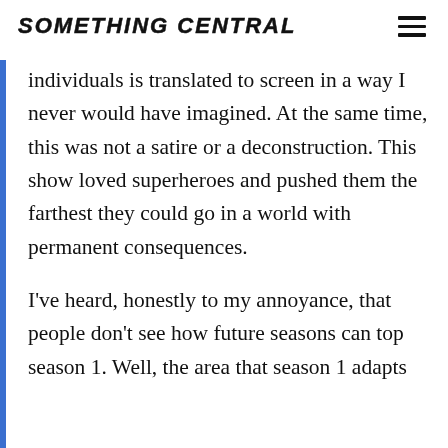SOMETHING CENTRAL
individuals is translated to screen in a way I never would have imagined. At the same time, this was not a satire or a deconstruction. This show loved superheroes and pushed them the farthest they could go in a world with permanent consequences.
I’ve heard, honestly to my annoyance, that people don’t see how future seasons can top season 1. Well, the area that season 1 adapts